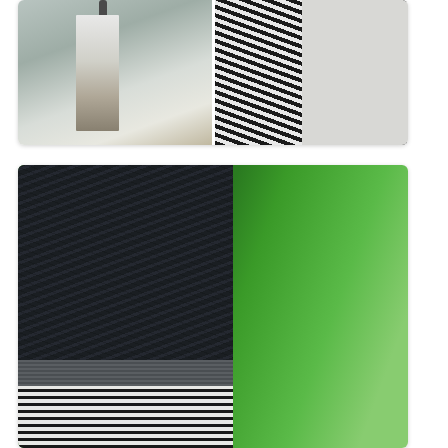[Figure (photo): Two side-by-side photos: left shows a person's legs and sandaled feet near a metal pole on pavement; right shows a close-up of black-and-white diagonal striped fabric next to white material.]
[Figure (photo): Close-up photo of a dark navy textured knit sweater top with a grey ribbed waistband and black-and-white horizontal striped skirt below, against a blurred green bokeh background.]